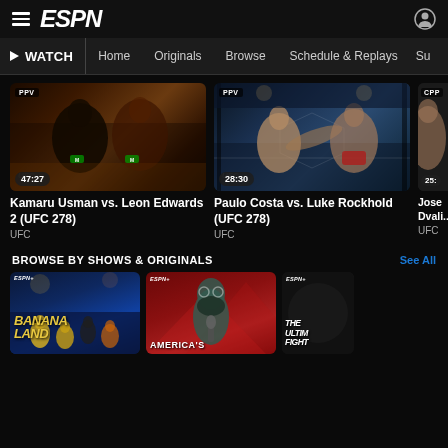ESPN
WATCH | Home | Originals | Browse | Schedule & Replays | Su...
[Figure (screenshot): UFC 278 fight thumbnail: Kamaru Usman vs. Leon Edwards 2 - two fighters in octagon, duration 47:27, PPV badge]
Kamaru Usman vs. Leon Edwards 2 (UFC 278)
UFC
[Figure (screenshot): UFC 278 fight thumbnail: Paulo Costa vs. Luke Rockhold - fighters in octagon with kick, duration 28:30, PPV badge]
Paulo Costa vs. Luke Rockhold (UFC 278)
UFC
[Figure (screenshot): Partial UFC fight thumbnail: Jose Dvali... duration 25:..., PPV badge]
Jose Dvali...
UFC
BROWSE BY SHOWS & ORIGINALS
See All
[Figure (screenshot): Bananaland show card with ESPN+ badge, yellow title text on blue background]
[Figure (screenshot): America's... show card with ESPN+ badge, cartoon bearded figure on red background]
[Figure (screenshot): The Ultimate Fighter show card with ESPN+ badge, white text on dark background]